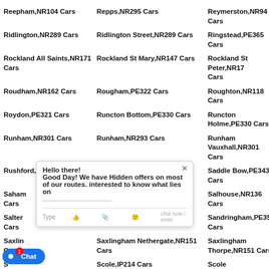Reepham,NR104 Cars
Repps,NR295 Cars
Reymerston,NR94 Cars
Ridlington,NR289 Cars
Ridlington Street,NR289 Cars
Ringstead,PE365 Cars
Rockland All Saints,NR171 Cars
Rockland St Mary,NR147 Cars
Rockland St Peter,NR171 Cars
Roudham,NR162 Cars
Rougham,PE322 Cars
Roughton,NR118 Cars
Roydon,PE321 Cars
Runcton Bottom,PE330 Cars
Runcton Holme,PE330 Cars
Runham,NR301 Cars
Runham,NR293 Cars
Runham Vauxhall,NR301 Cars
Rushford,IP242 Cars
Rush Green,NR94 Cars
Saddle Bow,PE343 Cars
Saham Toney,NR171 Cars
Saham Waite,IP257 Cars
Salhouse,NR136 Cars
Salters Lode,PE380 Cars
Salthouse,NR257 Cars
Sandringham,PE356 Cars
Saxlingham Green,NR151 Cars
Saxlingham Nethergate,NR151 Cars
Saxlingham Thorpe,NR151 Cars
Scarning,NR192 Cars
Scole,IP214 Cars
Scole Common,IP214 Cars